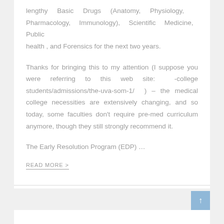lengthy Basic Drugs (Anatomy, Physiology, Pharmacology, Immunology), Scientific Medicine, Public health , and Forensics for the next two years.
Thanks for bringing this to my attention (I suppose you were referring to this web site: -college students/admissions/the-uva-som-1/ ) – the medical college necessities are extensively changing, and so today, some faculties don't require pre-med curriculum anymore, though they still strongly recommend it.
The Early Resolution Program (EDP) …
READ MORE >